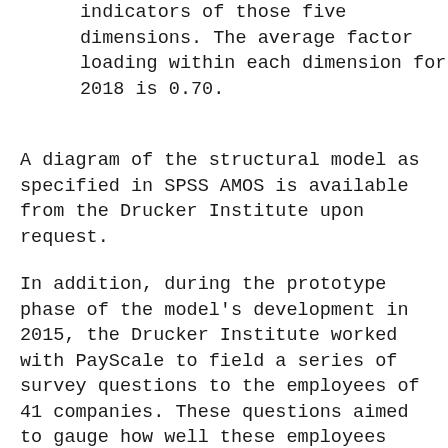serve as valid and reliable indicators of those five dimensions. The average factor loading within each dimension for 2018 is 0.70.
A diagram of the structural model as specified in SPSS AMOS is available from the Drucker Institute upon request.
In addition, during the prototype phase of the model's development in 2015, the Drucker Institute worked with PayScale to field a series of survey questions to the employees of 41 companies. These questions aimed to gauge how well these employees exhibited behaviors and mindsets that